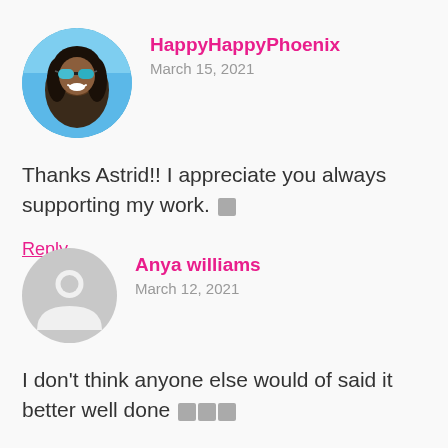[Figure (photo): Circular avatar photo of a smiling woman wearing blue mirrored sunglasses, outdoors with sky background]
HappyHappyPhoenix
March 15, 2021
Thanks Astrid!! I appreciate you always supporting my work. 🖤
Reply
[Figure (illustration): Circular gray placeholder avatar with generic person silhouette icon]
Anya williams
March 12, 2021
I don't think anyone else would of said it better well done 🖤🖤🖤